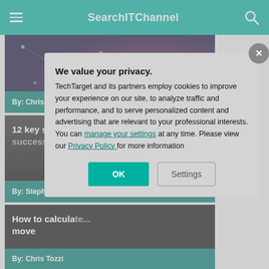SearchITChannel
[Figure (screenshot): Article card with dark blue tech network background showing connected dots and lines]
By: Chris Tozzi
[Figure (screenshot): Article card with black background, title: 12 key steps fo[r a successful destination]]
By: Stephen Bige[low]
[Figure (screenshot): Article card with dark background, title: How to calcula[te the cost of the] move]
By: Chris Tozzi
We value your privacy. TechTarget and its partners employ cookies to improve your experience on our site, to analyze traffic and performance, and to serve personalized content and advertising that are relevant to your professional interests. You can manage your settings at any time. Please view our Privacy Policy for more information